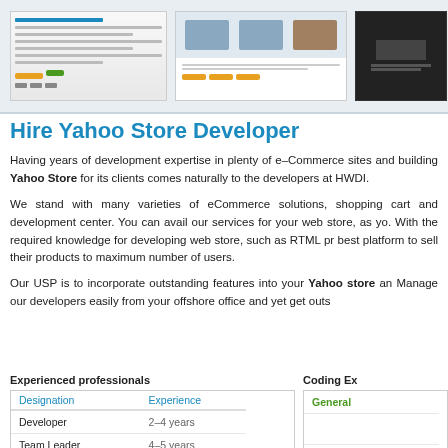[Figure (screenshot): Top banner showing three website screenshots of e-commerce stores on a light blue-grey background]
Hire Yahoo Store Developer
Having years of development expertise in plenty of e-Commerce sites and building Yahoo Store for its clients comes naturally to the developers at HWDI.
We stand with many varieties of eCommerce solutions, shopping cart and development center. You can avail our services for your web store, as yo. With the required knowledge for developing web store, such as RTML pr best platform to sell their products to maximum number of users.
Our USP is to incorporate outstanding features into your Yahoo store an Manage our developers easily from your offshore office and yet get outs
Experienced professionals
Coding Ex
| Designation | Experience |
| --- | --- |
| Developer | 2-4 years |
| Team Leader | 4-5 years |
| Project Leader | 5-6 years |
| General |  |
| --- | --- |
| Specialized |  |